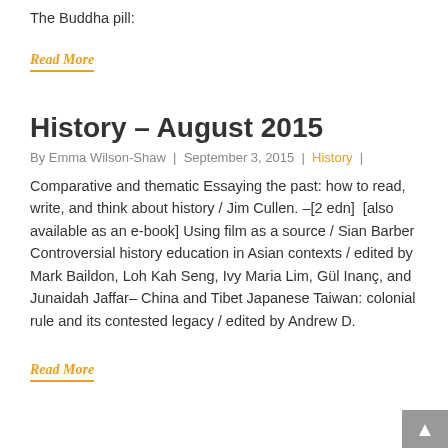The Buddha pill:
Read More
History – August 2015
By Emma Wilson-Shaw | September 3, 2015 | History |
Comparative and thematic Essaying the past: how to read, write, and think about history / Jim Cullen. –[2 edn]  [also available as an e-book] Using film as a source / Sian Barber Controversial history education in Asian contexts / edited by Mark Baildon, Loh Kah Seng, Ivy Maria Lim, Gül Inanç, and Junaidah Jaffar– China and Tibet Japanese Taiwan: colonial rule and its contested legacy / edited by Andrew D.
Read More